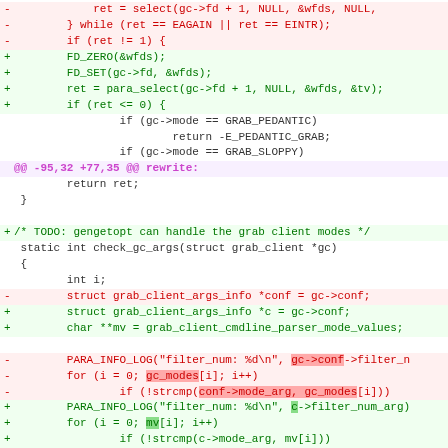[Figure (screenshot): A unified diff / code patch showing changes to C source code. Lines prefixed with '-' are removed (red background), lines with '+' are added (green background), context lines are white. A hunk header '@@ -95,32 +77,35 @@ rewrite:' appears in purple. Code includes select/para_select calls, grab client mode checks, and grab_client_args_info struct references.]